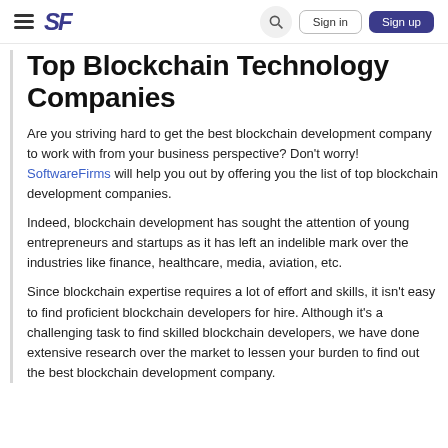SF | Sign in | Sign up
Top Blockchain Technology Companies
Are you striving hard to get the best blockchain development company to work with from your business perspective? Don't worry! SoftwareFirms will help you out by offering you the list of top blockchain development companies.
Indeed, blockchain development has sought the attention of young entrepreneurs and startups as it has left an indelible mark over the industries like finance, healthcare, media, aviation, etc.
Since blockchain expertise requires a lot of effort and skills, it isn't easy to find proficient blockchain developers for hire. Although it's a challenging task to find skilled blockchain developers, we have done extensive research over the market to lessen your burden to find out the best blockchain development company.